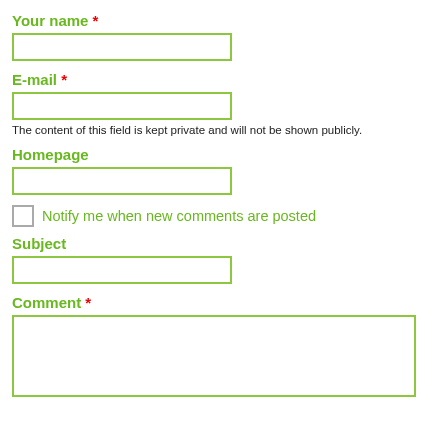Your name *
[Figure (other): Text input field for Your name]
E-mail *
[Figure (other): Text input field for E-mail]
The content of this field is kept private and will not be shown publicly.
Homepage
[Figure (other): Text input field for Homepage]
Notify me when new comments are posted
Subject
[Figure (other): Text input field for Subject]
Comment *
[Figure (other): Textarea for Comment]